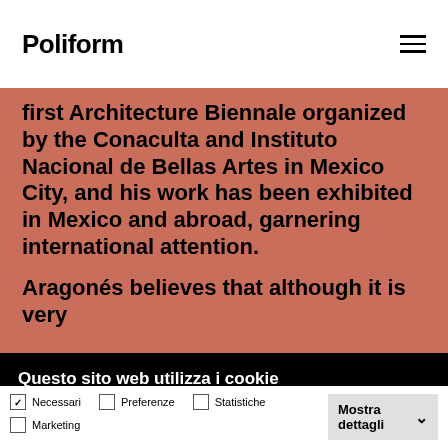Poliform
first Architecture Biennale organized by the Conaculta and Instituto Nacional de Bellas Artes in Mexico City, and his work has been exhibited in Mexico and abroad, garnering international attention.
Aragonés believes that although it is very
Questo sito web utilizza i cookie
Utilizziamo i cookie per personalizzare la tua esperienza utente e studiare come viene utilizzato il nostro sito web. Cliccando su "Accetto tutti i cookie" acconsenti all'uso di cookie essenziali per il funzionamento del sito, per finalità di personalizzazione, statistiche e di pubblicità mirata, compresi i cookie di terze parti.
Rifiuta | Accetta selezionati | Accetta tutti
Necessari (checked) | Preferenze | Statistiche | Marketing | Mostra dettagli